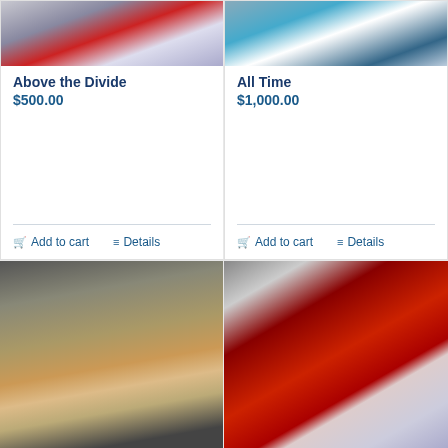[Figure (illustration): Painting of a football player above a divide, partially visible at top of card]
Above the Divide
$500.00
[Figure (illustration): Painting of a person in teal/blue outfit, partially visible at top of card]
All Time
$1,000.00
[Figure (illustration): Close-up oil painting of a football player's face and hand, dark moody background]
[Figure (illustration): Painting of Arizona Cardinals players in red uniforms with helmets]